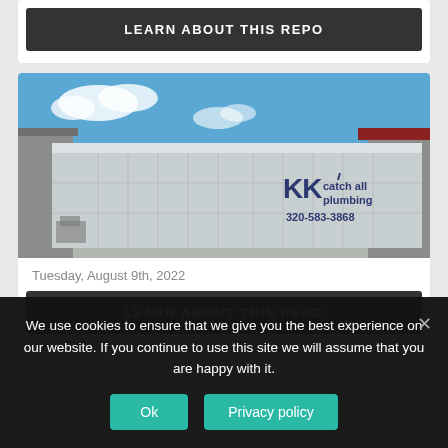LEARN ABOUT THIS REPO
[Figure (photo): A large silver/aluminum trailer with KK Catch All Plumbing logo and phone number 320-583-3868, parked outside a metal building under a blue sky.]
Tuesday, August 9th, 2022
LEARN ABOUT THIS REPO
We use cookies to ensure that we give you the best experience on our website. If you continue to use this site we will assume that you are happy with it.
Ok
Privacy policy